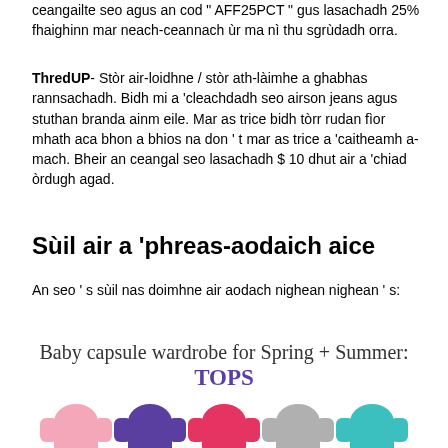ceangailte seo agus an cod " AFF25PCT " gus lasachadh 25% fhaighinn mar neach-ceannach ùr ma nì thu sgrùdadh orra.
ThredUP- Stòr air-loidhne / stòr ath-làimhe a ghabhas rannsachadh. Bidh mi a 'cleachdadh seo airson jeans agus stuthan branda ainm eile. Mar as trice bidh tòrr rudan fìor mhath aca bhon a bhios na don ' t mar as trice a 'caitheamh a-mach. Bheir an ceangal seo lasachadh $ 10 dhut air a 'chiad òrdugh agad.
Sùil air a 'phreas-aodaich aice
An seo ' s sùil nas doimhne air aodach nighean nighean ' s:
[Figure (illustration): Image showing colorful baby/children's tops with title text 'Baby capsule wardrobe for Spring + Summer: TOPS'. Five tops shown in pink, purple, red/pink, grey, and teal colors.]